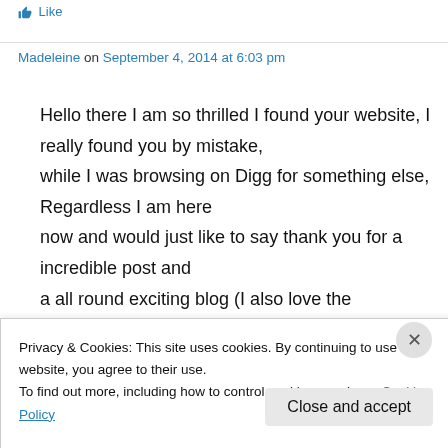Like
Madeleine on September 4, 2014 at 6:03 pm
Hello there I am so thrilled I found your website, I really found you by mistake, while I was browsing on Digg for something else, Regardless I am here now and would just like to say thank you for a incredible post and a all round exciting blog (I also love the
Privacy & Cookies: This site uses cookies. By continuing to use this website, you agree to their use.
To find out more, including how to control cookies, see here: Cookie Policy
Close and accept